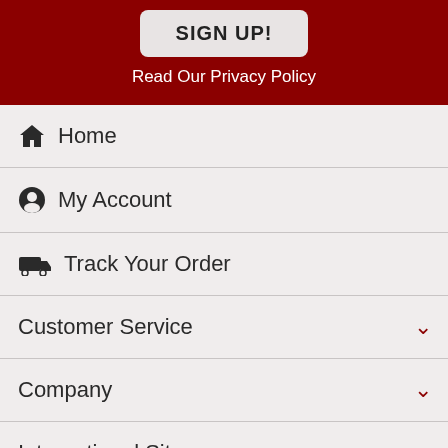SIGN UP!
Read Our Privacy Policy
Home
My Account
Track Your Order
Customer Service
Company
International Sites
More
©2022 HalloweenCostumes.com All Rights Reserved.